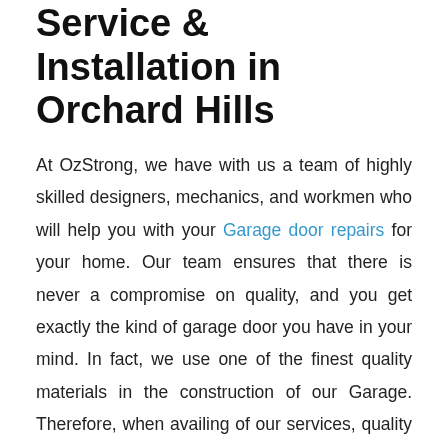Service & Installation in Orchard Hills
At OzStrong, we have with us a team of highly skilled designers, mechanics, and workmen who will help you with your Garage door repairs for your home. Our team ensures that there is never a compromise on quality, and you get exactly the kind of garage door you have in your mind. In fact, we use one of the finest quality materials in the construction of our Garage. Therefore, when availing of our services, quality is the last thing that you have to worry about.